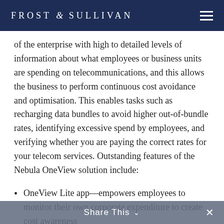FROST & SULLIVAN
of the enterprise with high to detailed levels of information about what employees or business units are spending on telecommunications, and this allows the business to perform continuous cost avoidance and optimisation. This enables tasks such as recharging data bundles to avoid higher out-of-bundle rates, identifying excessive spend by employees, and verifying whether you are paying the correct rates for your telecom services. Outstanding features of the Nebula OneView solution include:
OneView Lite app—empowers employees to monitor their own corporate expenditure to create cost awareness
BYOD solution—gives employees peace of mind that